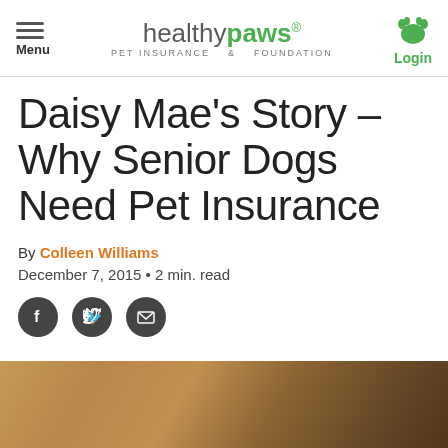Menu | healthy paws® PET INSURANCE & FOUNDATION | Login
Daisy Mae's Story – Why Senior Dogs Need Pet Insurance
By Colleen Williams
December 7, 2015 • 2 min. read
[Figure (other): Social sharing buttons: Facebook, Twitter, Email]
[Figure (photo): Blurred close-up photo of a dog, warm brown tones]